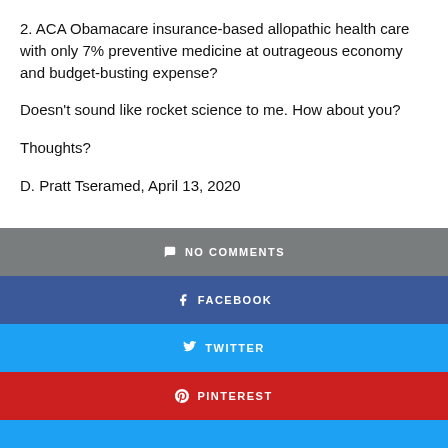2. ACA Obamacare insurance-based allopathic health care with only 7% preventive medicine at outrageous economy and budget-busting expense?
Doesn't sound like rocket science to me. How about you?
Thoughts?
D. Pratt Tseramed, April 13, 2020
NO COMMENTS
FACEBOOK
TWITTER
PINTEREST